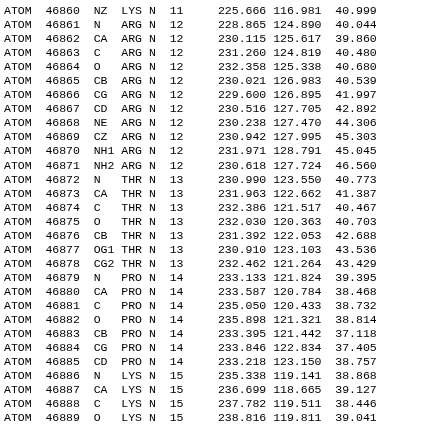| type | serial | name | res | chain | seq | x | y | z | ... |
| --- | --- | --- | --- | --- | --- | --- | --- | --- | --- |
| ATOM | 46860 | NZ  | LYS | N | 11 | 225.666 | 116.981 | 40.999 |
| ATOM | 46861 | N   | ARG | N | 12 | 228.865 | 124.890 | 40.044 |
| ATOM | 46862 | CA  | ARG | N | 12 | 230.115 | 125.617 | 39.860 |
| ATOM | 46863 | C   | ARG | N | 12 | 231.260 | 124.819 | 40.480 |
| ATOM | 46864 | O   | ARG | N | 12 | 232.358 | 125.338 | 40.680 |
| ATOM | 46865 | CB  | ARG | N | 12 | 230.021 | 126.983 | 40.539 |
| ATOM | 46866 | CG  | ARG | N | 12 | 229.600 | 126.895 | 41.997 |
| ATOM | 46867 | CD  | ARG | N | 12 | 230.516 | 127.705 | 42.892 |
| ATOM | 46868 | NE  | ARG | N | 12 | 230.238 | 127.470 | 44.306 |
| ATOM | 46869 | CZ  | ARG | N | 12 | 230.942 | 127.995 | 45.303 |
| ATOM | 46870 | NH1 | ARG | N | 12 | 231.971 | 128.791 | 45.045 |
| ATOM | 46871 | NH2 | ARG | N | 12 | 230.618 | 127.724 | 46.560 |
| ATOM | 46872 | N   | THR | N | 13 | 230.990 | 123.550 | 40.773 |
| ATOM | 46873 | CA  | THR | N | 13 | 231.963 | 122.662 | 41.387 |
| ATOM | 46874 | C   | THR | N | 13 | 232.386 | 121.517 | 40.467 |
| ATOM | 46875 | O   | THR | N | 13 | 232.030 | 120.363 | 40.703 |
| ATOM | 46876 | CB  | THR | N | 13 | 231.392 | 122.053 | 42.688 |
| ATOM | 46877 | OG1 | THR | N | 13 | 230.910 | 123.103 | 43.536 |
| ATOM | 46878 | CG2 | THR | N | 13 | 232.462 | 121.264 | 43.429 |
| ATOM | 46879 | N   | PRO | N | 14 | 233.133 | 121.824 | 39.395 |
| ATOM | 46880 | CA  | PRO | N | 14 | 233.587 | 120.784 | 38.468 |
| ATOM | 46881 | C   | PRO | N | 14 | 235.050 | 120.433 | 38.732 |
| ATOM | 46882 | O   | PRO | N | 14 | 235.898 | 121.321 | 38.814 |
| ATOM | 46883 | CB  | PRO | N | 14 | 233.395 | 121.442 | 37.118 |
| ATOM | 46884 | CG  | PRO | N | 14 | 233.846 | 122.834 | 37.405 |
| ATOM | 46885 | CD  | PRO | N | 14 | 233.218 | 123.150 | 38.757 |
| ATOM | 46886 | N   | LYS | N | 15 | 235.338 | 119.141 | 38.868 |
| ATOM | 46887 | CA  | LYS | N | 15 | 236.699 | 118.665 | 39.127 |
| ATOM | 46888 | C   | LYS | N | 15 | 237.782 | 119.511 | 38.446 |
| ATOM | 46889 | O   | LYS | N | 15 | 238.816 | 119.811 | 39.041 |